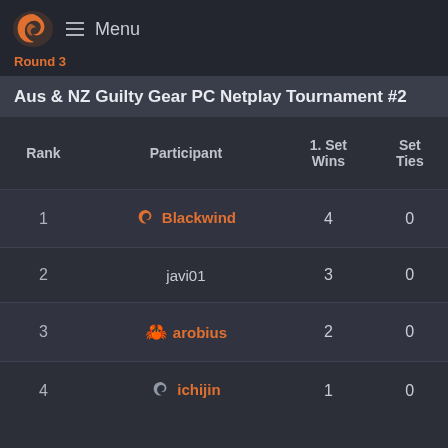Menu
Round 3
Aus & NZ Guilty Gear PC Netplay Tournament #2
| Rank | Participant | 1. Set Wins | Set Ties |
| --- | --- | --- | --- |
| 1 | Blackwind | 4 | 0 |
| 2 | javi01 | 3 | 0 |
| 3 | arobius | 2 | 0 |
| 4 | ichijin | 1 | 0 |